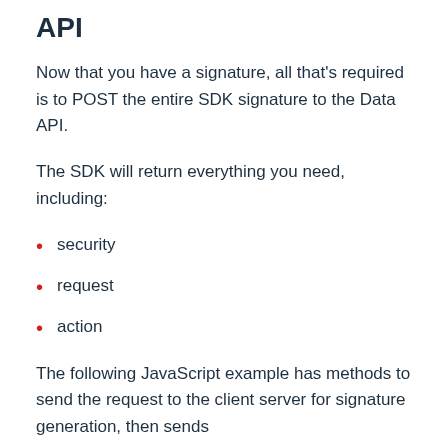API
Now that you have a signature, all that's required is to POST the entire SDK signature to the Data API.
The SDK will return everything you need, including:
security
request
action
The following JavaScript example has methods to send the request to the client server for signature generation, then sends